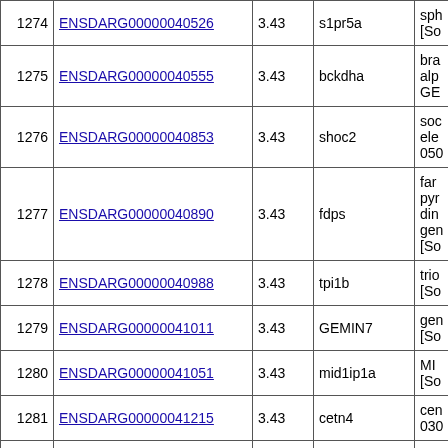| # | Gene ID | Value | Gene | Description |
| --- | --- | --- | --- | --- |
| 1274 | ENSDARG00000040526 | 3.43 | s1pr5a | sph... [So... |
| 1275 | ENSDARG00000040555 | 3.43 | bckdha | bra... alp... GE... |
| 1276 | ENSDARG00000040853 | 3.43 | shoc2 | soc... ele... 050... |
| 1277 | ENSDARG00000040890 | 3.43 | fdps | far... pyr... din... gen... [So... |
| 1278 | ENSDARG00000040988 | 3.43 | tpi1b | trio... [So... |
| 1279 | ENSDARG00000041011 | 3.43 | GEMIN7 | gen... [So... |
| 1280 | ENSDARG00000041051 | 3.43 | mid1ip1a | MI... [So... |
| 1281 | ENSDARG00000041215 | 3.43 | cetn4 | cen... 030... |
| 1282 | ENSDARG00000041317 | 3.43 | rangap1a | RA... [So... |